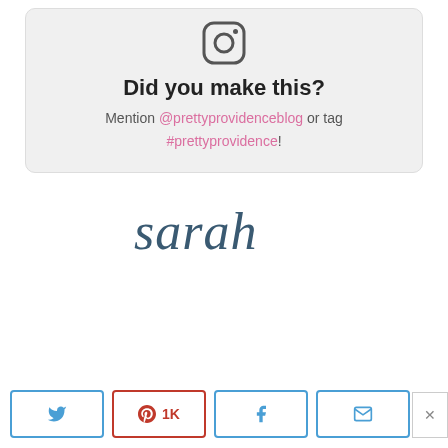[Figure (other): Instagram camera icon at top of call-to-action box]
Did you make this? Mention @prettyprovidenceblog or tag #prettyprovidence!
[Figure (illustration): Handwritten cursive signature reading 'sarah' in dark teal/blue color]
Tweet | Pin 1K | Share | Email | < 1K SHARES